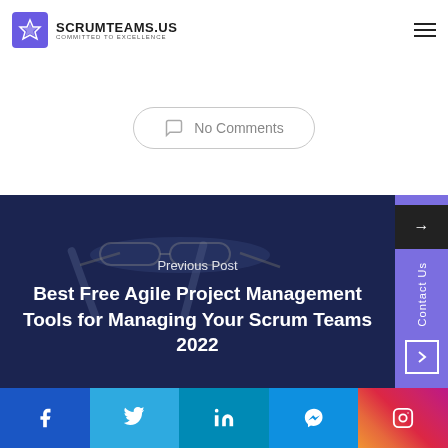SCRUMTEAMS.US COMMITTED TO EXCELLENCE
No Comments
[Figure (screenshot): Dark blue overlay background with glasses and device on desk, showing navigation to previous blog post]
Previous Post
Best Free Agile Project Management Tools for Managing Your Scrum Teams 2022
[Figure (infographic): Social media buttons row: Facebook, Twitter, LinkedIn, Messenger, Instagram]